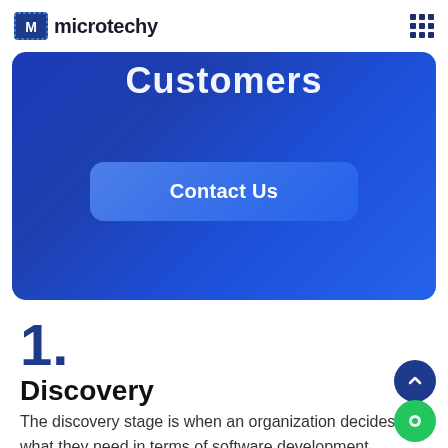microtechy
[Figure (screenshot): Blue banner section with 'Customers' heading and a 'Contact Us' button on a gradient blue background]
1.
Discovery
The discovery stage is when an organization decides what they need in terms of software development services, they must first understand their software